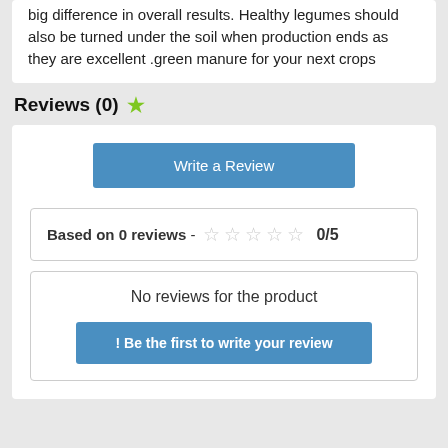big difference in overall results. Healthy legumes should also be turned under the soil when production ends as they are excellent .green manure for your next crops
Reviews (0) ★
Write a Review
Based on 0 reviews - ☆☆☆☆☆ 0/5
No reviews for the product
! Be the first to write your review